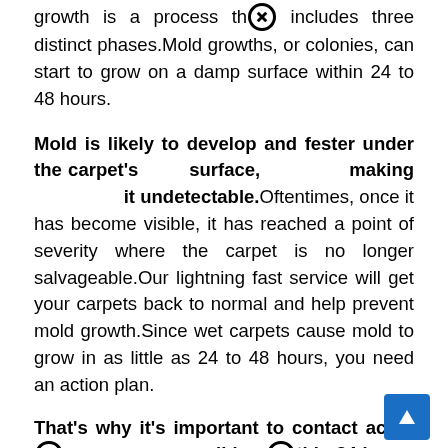growth is a process th[x] includes three distinct phases.Mold growths, or colonies, can start to grow on a damp surface within 24 to 48 hours.
Mold is likely to develop and fester under the carpet's surface, making it undetectable. Oftentimes, once it has become visible, it has reached a point of severity where the carpet is no longer salvageable.Our lightning fast service will get your carpets back to normal and help prevent mold growth.Since wet carpets cause mold to grow in as little as 24 to 48 hours, you need an action plan.
That's why it's important to contact accut[x] as soon as possible—[x]thin 24 hours of your